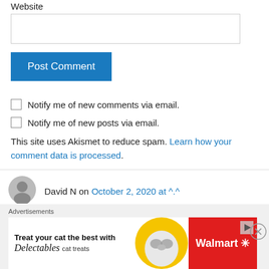Website
[Figure (other): Website text input field (empty)]
[Figure (other): Post Comment blue button]
Notify me of new comments via email.
Notify me of new posts via email.
This site uses Akismet to reduce spam. Learn how your comment data is processed.
David N on October 2, 2020 at ^.^
Advertisements
[Figure (photo): Walmart advertisement banner: Treat your cat the best with Delectables cat treats, featuring a cat image and Walmart logo]